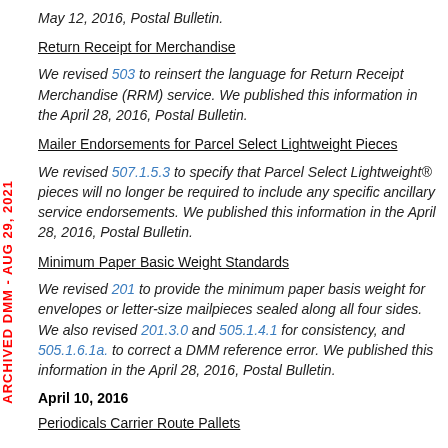May 12, 2016, Postal Bulletin.
Return Receipt for Merchandise
We revised 503 to reinsert the language for Return Receipt Merchandise (RRM) service. We published this information in the April 28, 2016, Postal Bulletin.
Mailer Endorsements for Parcel Select Lightweight Pieces
We revised 507.1.5.3 to specify that Parcel Select Lightweight® pieces will no longer be required to include any specific ancillary service endorsements. We published this information in the April 28, 2016, Postal Bulletin.
Minimum Paper Basic Weight Standards
We revised 201 to provide the minimum paper basis weight for envelopes or letter-size mailpieces sealed along all four sides. We also revised 201.3.0 and 505.1.4.1 for consistency, and 505.1.6.1a. to correct a DMM reference error. We published this information in the April 28, 2016, Postal Bulletin.
April 10, 2016
Periodicals Carrier Route Pallets